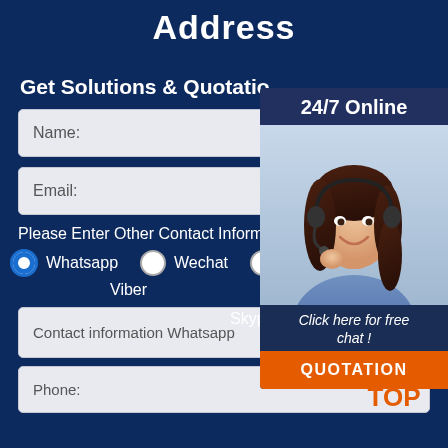Address
Get Solutions & Quotati…
Name:
Email:
Please Enter Other Contact Information
Whatsapp   Wechat   Skype   Viber
Contact information Whatsapp
Phone:
[Figure (photo): Customer service representative woman wearing headset, with 24/7 Online popup box, click here for free chat text, and orange QUOTATION button]
[Figure (logo): Orange TOP scroll-to-top button with dot arc above]
24/7 Online
Click here for free chat !
QUOTATION